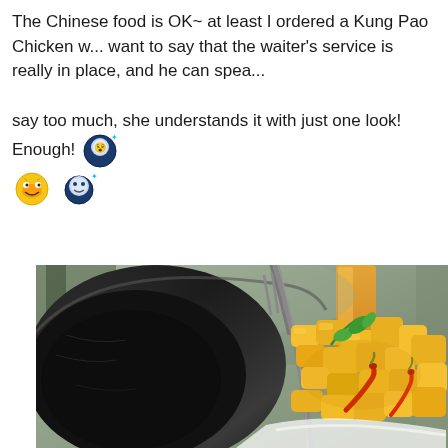The Chinese food is OK~ at least I ordered a Kung Pao Chicken w... want to say that the waiter's service is really in place, and he can spea... say too much, she understands it with just one look! Enough! [emoji] [emoji] [emoji]
[Figure (photo): Close-up photo of Chinese food dish (Kung Pao Chicken style) in a dark black wok/pan with a fork, showing yellow chunky pieces with red chili peppers and green herb garnish, on a blurred restaurant background with orange juice visible]